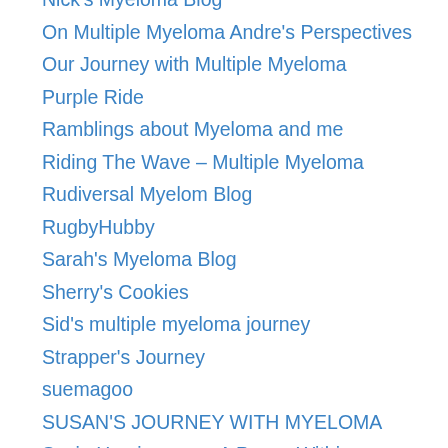Nick's Myeloma Blog
On Multiple Myeloma Andre's Perspectives
Our Journey with Multiple Myeloma
Purple Ride
Ramblings about Myeloma and me
Riding The Wave – Multiple Myeloma
Rudiversal Myelom Blog
RugbyHubby
Sarah's Myeloma Blog
Sherry's Cookies
Sid's multiple myeloma journey
Strapper's Journey
suemagoo
SUSAN'S JOURNEY WITH MYELOMA
Susie Hemingway – A Power Within.